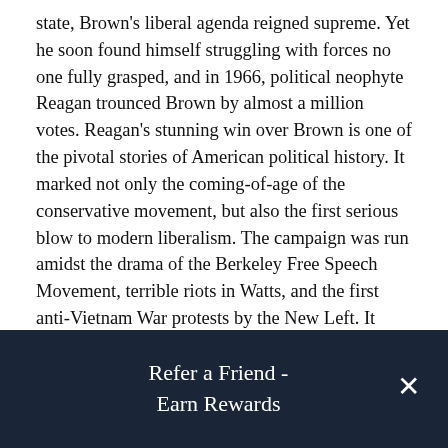state, Brown's liberal agenda reigned supreme. Yet he soon found himself struggling with forces no one fully grasped, and in 1966, political neophyte Reagan trounced Brown by almost a million votes. Reagan's stunning win over Brown is one of the pivotal stories of American political history. It marked not only the coming-of-age of the conservative movement, but also the first serious blow to modern liberalism. The campaign was run amidst the drama of the Berkeley Free Speech Movement, terrible riots in Watts, and the first anti-Vietnam War protests by the New Left. It featured cameo appearances by Mario Savio, Ed Meese, California Speaker Jesse "Big Daddy" Unruh, and tough-as-nails Los Angeles Police Chief William Parker. Beneath its tumultuous surface a
Refer a Friend - Earn Rewards